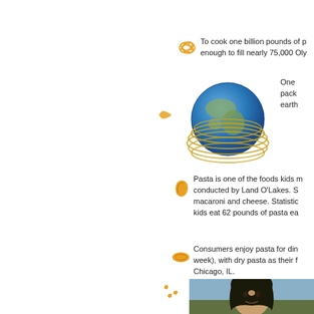[Figure (illustration): Orange pasta/noodle icon (tangle of pasta)]
To cook one billion pounds of p... enough to fill nearly 75,000 Oly...
[Figure (illustration): Globe wrapped with golden rings/spaghetti, with small orange pasta icon to the left]
One pack... earth...
[Figure (illustration): Orange shell pasta icon]
Pasta is one of the foods kids m... conducted by Land O'Lakes. S... macaroni and cheese. Statistic... kids eat 62 pounds of pasta ea...
[Figure (illustration): Orange oval/egg pasta icon]
Consumers enjoy pasta for din... week), with dry pasta as their f... Chicago, IL.
[Figure (illustration): Small orange pasta pieces icon]
[Figure (photo): Portrait of a historical figure (appears to be Nicolaus Copernicus) with dark curly hair]